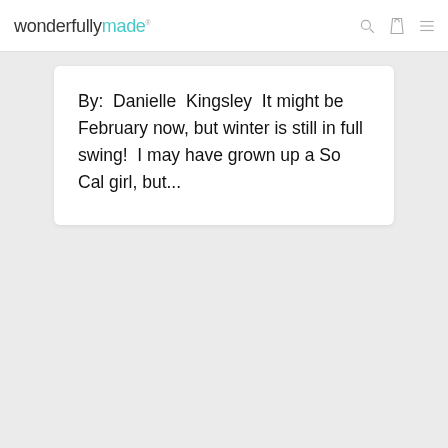wonderfullymade
By:  Danielle  Kingsley  It might be February now, but winter is still in full swing!  I may have grown up a So Cal girl, but...